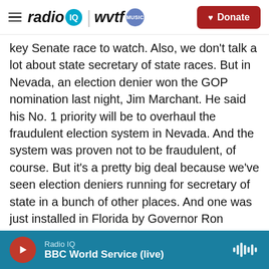[Figure (logo): Radio IQ | WVTF Music logo with hamburger menu and Donate button]
key Senate race to watch. Also, we don't talk a lot about state secretary of state races. But in Nevada, an election denier won the GOP nomination last night, Jim Marchant. He said his No. 1 priority will be to overhaul the fraudulent election system in Nevada. And the system was proven not to be fraudulent, of course. But it's a pretty big deal because we've seen election deniers running for secretary of state in a bunch of other places. And one was just installed in Florida by Governor Ron DeSantis. So that means there's a potential that in 2024, we could have election deniers in charge of the machinations of close elections in two pretty
Radio IQ / BBC World Service (live)